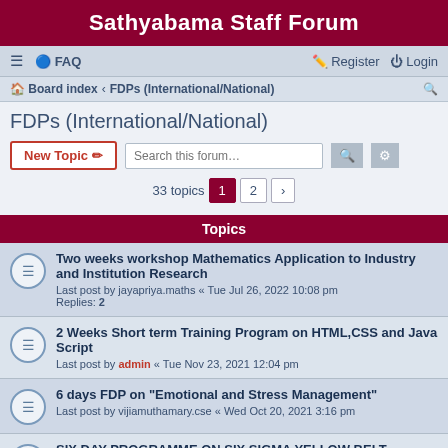Sathyabama Staff Forum
≡  FAQ  Register  Login
Board index · FDPs (International/National)
FDPs (International/National)
New Topic  Search this forum…  33 topics  1  2  >
Topics
Two weeks workshop Mathematics Application to Industry and Institution Research
Last post by jayapriya.maths « Tue Jul 26, 2022 10:08 pm
Replies: 2
2 Weeks Short term Training Program on HTML,CSS and Java Script
Last post by admin « Tue Nov 23, 2021 12:04 pm
6 days FDP on "Emotional and Stress Management"
Last post by vijiamuthamary.cse « Wed Oct 20, 2021 3:16 pm
SIX DAY PROGRAMME ON SIX SIGMA YELLOW BELT CERTIFICATION
Last post by admin « Mon Sep 20, 2021 11:39 am